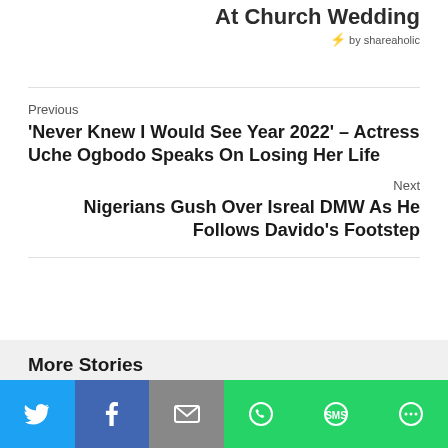At Church Wedding
⚡ by shareaholic
Previous
'Never Knew I Would See Year 2022' – Actress Uche Ogbodo Speaks On Losing Her Life
Next
Nigerians Gush Over Isreal DMW As He Follows Davido's Footstep
More Stories
[Figure (photo): Thumbnail image left]
[Figure (photo): Thumbnail image right with red block]